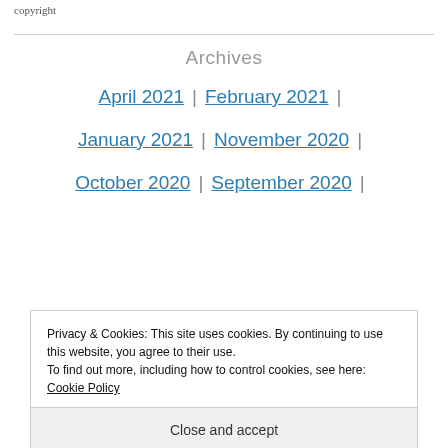copyright
Archives
April 2021 | February 2021 |
January 2021 | November 2020 |
October 2020 | September 2020 |
Privacy & Cookies: This site uses cookies. By continuing to use this website, you agree to their use. To find out more, including how to control cookies, see here: Cookie Policy
Close and accept
July 2020 | May 2020 | April 2020 |